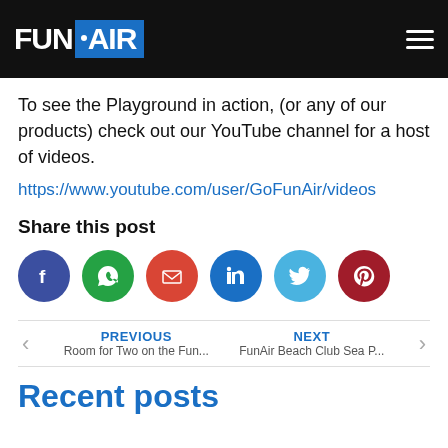FunAir
To see the Playground in action, (or any of our products) check out our YouTube channel for a host of videos.
https://www.youtube.com/user/GoFunAir/videos
Share this post
[Figure (infographic): Social share buttons: Facebook, WhatsApp, Email, LinkedIn, Twitter, Pinterest]
PREVIOUS
Room for Two on the Fun...
NEXT
FunAir Beach Club Sea P...
Recent posts